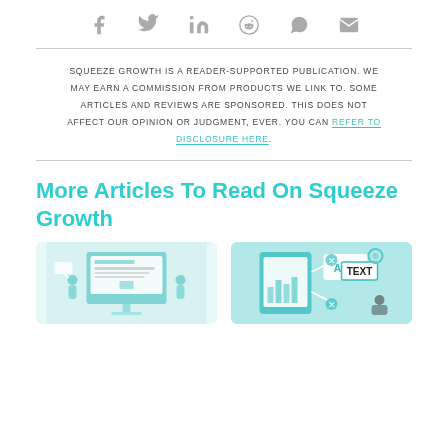[Figure (other): Social share icons row: Facebook, Twitter, LinkedIn, Reddit, WhatsApp, Email]
SQUEEZE GROWTH IS A READER-SUPPORTED PUBLICATION. WE MAY EARN A COMMISSION FROM PRODUCTS WE LINK TO. SOME ARTICLES AND REVIEWS ARE SPONSORED. THIS DOES NOT AFFECT OUR OPINION OR JUDGMENT, EVER. YOU CAN REFER TO DISCLOSURE HERE.
More Articles To Read On Squeeze Growth
[Figure (illustration): Two illustrated figures working on a large monitor/website design interface]
[Figure (illustration): Illustrated scene with tablet showing ABC blocks, TEXT sign, charts and a figure]